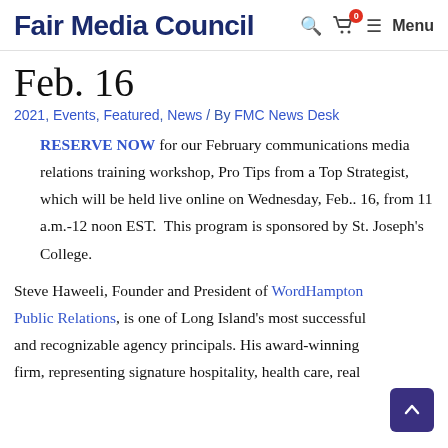Fair Media Council
Feb. 16
2021, Events, Featured, News / By FMC News Desk
RESERVE NOW for our February communications media relations training workshop, Pro Tips from a Top Strategist, which will be held live online on Wednesday, Feb.. 16, from 11 a.m.-12 noon EST.  This program is sponsored by St. Joseph's College.
Steve Haweeli, Founder and President of WordHampton Public Relations, is one of Long Island's most successful and recognizable agency principals. His award-winning firm, representing signature hospitality, health care, real